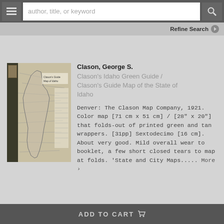author, title, or keyword | Refine Search
Clason, George S.
Clason's Idaho Green Guide / Clason's Guide Map of the State of Idaho
Denver: The Clason Map Company, 1921. Color map [71 cm x 51 cm] / [28" x 20"] that folds-out of printed green and tan wrappers. [31pp] Sextodecimo [16 cm]. About very good. Mild overall wear to booklet, a few short closed tears to map at folds. 'State and City Maps..... More ›
[Figure (photo): Thumbnail image of a vintage Idaho map booklet with green cover and folded map visible]
ADD TO CART